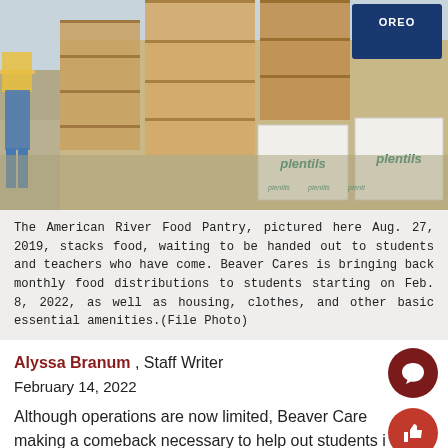[Figure (photo): Photo of the American River Food Pantry showing stacks of food boxes including 'plentils' brand boxes waiting to be handed out, with people walking nearby, taken Aug. 27, 2019.]
The American River Food Pantry, pictured here Aug. 27, 2019, stacks food, waiting to be handed out to students and teachers who have come. Beaver Cares is bringing back monthly food distributions to students starting on Feb. 8, 2022, as well as housing, clothes, and other basic essential amenities.(File Photo)
Alyssa Branum , Staff Writer
February 14, 2022
Although operations are now limited, Beaver Cares is making a comeback necessary to help out students in